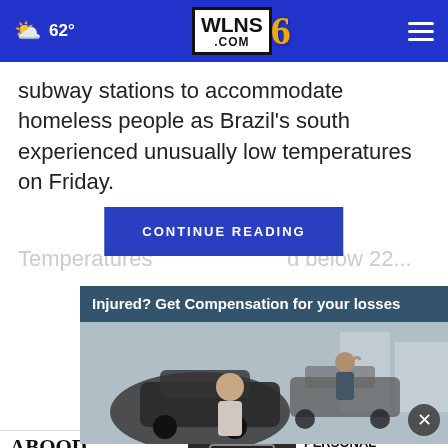62° WLNS6.COM
subway stations to accommodate homeless people as Brazil's south experienced unusually low temperatures on Friday.
CONTINUE READING
Temperatures ...d below 22...
[Figure (photo): Advertisement banner: Injured? Get Compensation for your losses, showing two people near cars after an accident]
[Figure (photo): Abood Law Firm advertisement with phone number 517-332-5900, US127 badge, Personal Injury, Contact Us button]